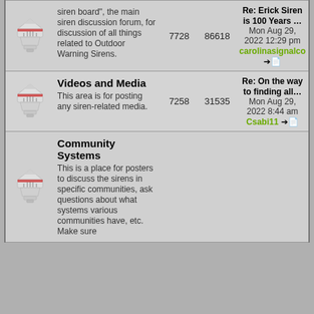| Icon | Forum | Topics | Posts | Last Post |
| --- | --- | --- | --- | --- |
| [siren icon] | siren board", the main siren discussion forum, for discussion of all things related to Outdoor Warning Sirens. | 7728 | 86618 | Re: Erick Siren is 100 Years … Mon Aug 29, 2022 12:29 pm carolinasignalco |
| [siren icon] | Videos and Media
This area is for posting any siren-related media. | 7258 | 31535 | Re: On the way to finding all… Mon Aug 29, 2022 8:44 am Csabi11 |
| [siren icon] | Community Systems
This is a place for posters to discuss the sirens in specific communities, ask questions about what systems various communities have, etc. Make sure |  |  |  |